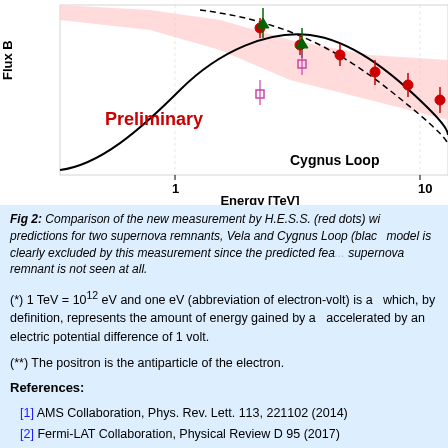[Figure (continuous-plot): Partial view of an energy spectrum plot showing Flux B on y-axis and Energy [TeV] on x-axis (1 to 10 TeV range). Shows red dots (H.E.S.S. measurement), green triangles, pink open squares, a black solid curve and a dashed black curve. A red shaded band is visible. Labels: 'Preliminary' in red bold, 'Cygnus Loop' in black bold.]
Fig 2: Comparison of the new measurement by H.E.S.S. (red dots) with predictions for two supernova remnants, Vela and Cygnus Loop (black...). model is clearly excluded by this measurement since the predicted fea... supernova remnant is not seen at all.
(*) 1 TeV = 10^12 eV and one eV (abbreviation of electron-volt) is a... which, by definition, represents the amount of energy gained by a... accelerated by an electric potential difference of 1 volt.
(**) The positron is the antiparticle of the electron.
References:
[1] AMS Collaboration, Phys. Rev. Lett. 113, 221102 (2014)
[2] Fermi-LAT Collaboration, Physical Review D 95 (2017)
[3] F. Aharonian et al., Phys. Rev. Lett. 101, 261104 (2008)
[4] F. Aharonian et al., Astron. Astrophys. 508, 561 (2009)